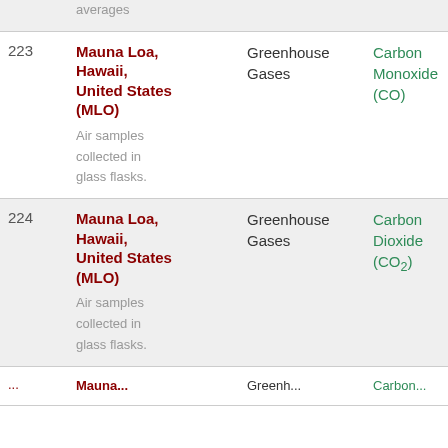| # | Station | Category | Parameter | Flag |
| --- | --- | --- | --- | --- |
|  | averages |  |  |  |
| 223 | Mauna Loa, Hawaii, United States (MLO)
Air samples collected in glass flasks. | Greenhouse Gases | Carbon Monoxide (CO) | Fl |
| 224 | Mauna Loa, Hawaii, United States (MLO)
Air samples collected in glass flasks. | Greenhouse Gases | Carbon Dioxide (CO2) | Fl |
| ... | Mauna... | Greenh... | Carbon... |  |